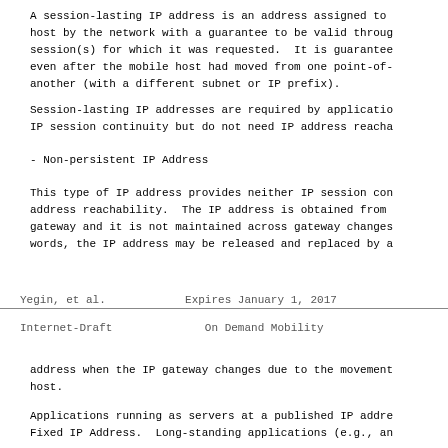A session-lasting IP address is an address assigned to host by the network with a guarantee to be valid through session(s) for which it was requested.  It is guarantee even after the mobile host had moved from one point-of- another (with a different subnet or IP prefix).
Session-lasting IP addresses are required by applicatio IP session continuity but do not need IP address reacha
- Non-persistent IP Address
This type of IP address provides neither IP session con address reachability.  The IP address is obtained from  gateway and it is not maintained across gateway changes  words, the IP address may be released and replaced by a
Yegin, et al.              Expires January 1, 2017
Internet-Draft                On Demand Mobility
address when the IP gateway changes due to the movement host.
Applications running as servers at a published IP addre Fixed IP Address.  Long-standing applications (e.g., an